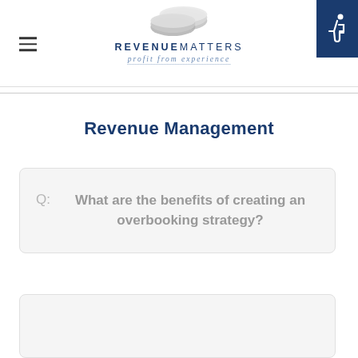REVENUE MATTERS — profit from experience
Revenue Management
Q: What are the benefits of creating an overbooking strategy?